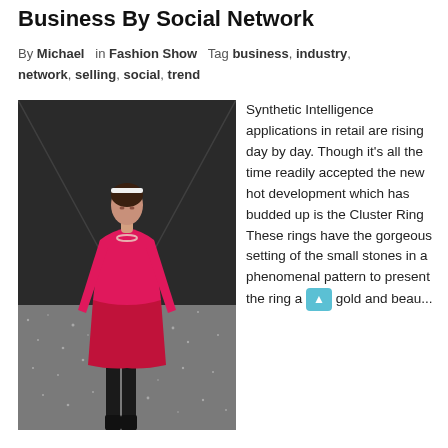Business By Social Network
By Michael  in Fashion Show  Tag business, industry, network, selling, social, trend
[Figure (photo): Fashion model walking runway in pink/red long-sleeve turtleneck mini dress with black tights and boots, on a glittery silver runway]
Synthetic Intelligence applications in retail are rising day by day. Though it's all the time readily accepted the new hot development which has budded up is the Cluster Ring These rings have the gorgeous setting of the small stones in a phenomenal pattern to present the ring a gold and beau...